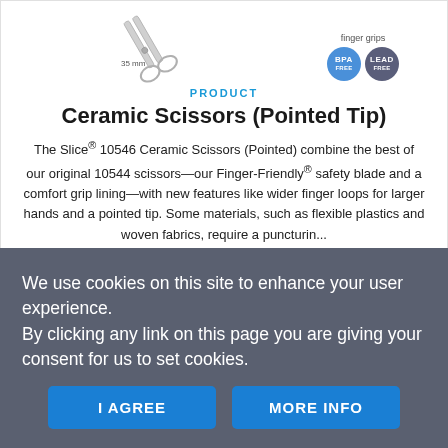[Figure (illustration): Ceramic scissors illustration with '35 mm' label, finger grips label, and two circular badges: BPA FREE and LEAD FREE]
PRODUCT
Ceramic Scissors (Pointed Tip)
The Slice® 10546 Ceramic Scissors (Pointed) combine the best of our original 10544 scissors—our Finger-Friendly® safety blade and a comfort grip lining—with new features like wider finger loops for larger hands and a pointed tip. Some materials, such as flexible plastics and woven fabrics, require a puncturin...
View product page
We use cookies on this site to enhance your user experience.
By clicking any link on this page you are giving your consent for us to set cookies.
I AGREE
MORE INFO